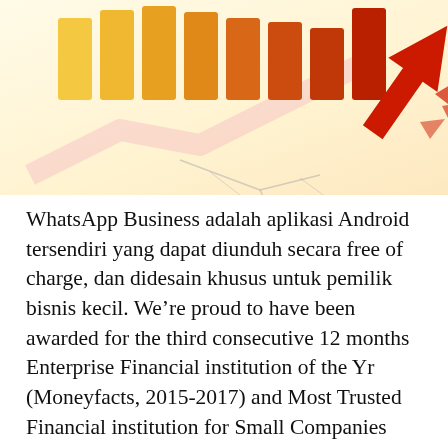[Figure (illustration): Decorative financial illustration showing colored bar chart (yellow to red gradient bars) with a red downward arrow crashing through the surface and a rising arrow chart pattern in the background on a light warm background.]
WhatsApp Business adalah aplikasi Android tersendiri yang dapat diunduh secara free of charge, dan didesain khusus untuk pemilik bisnis kecil. We're proud to have been awarded for the third consecutive 12 months Enterprise Financial institution of the Yr (Moneyfacts, 2015-2017) and Most Trusted Financial institution for Small Companies (Moneywise, 2016). We support small to medium sized start-up and established companies with straightforward banking needs and as much as two administrators, owners (shareholders) or